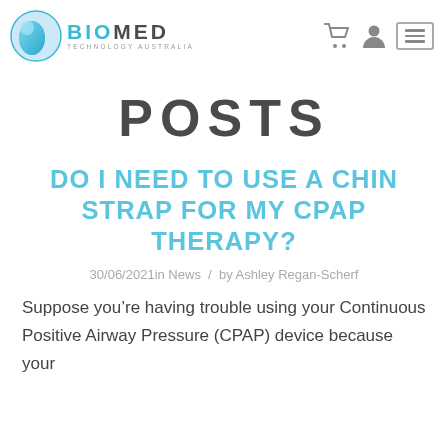BIOMED TECHNOLOGY AUSTRALIA
POSTS
DO I NEED TO USE A CHIN STRAP FOR MY CPAP THERAPY?
30/06/2021in News  /  by Ashley Regan-Scherf
Suppose you’re having trouble using your Continuous Positive Airway Pressure (CPAP) device because your